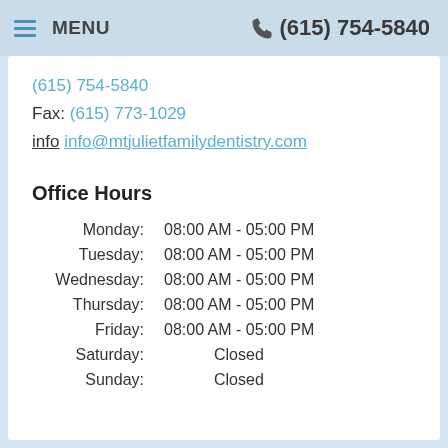MENU   (615) 754-5840
(615) 754-5840
Fax: (615) 773-1029
info info@mtjulietfamilydentistry.com
Office Hours
| Day | Hours |
| --- | --- |
| Monday: | 08:00 AM - 05:00 PM |
| Tuesday: | 08:00 AM - 05:00 PM |
| Wednesday: | 08:00 AM - 05:00 PM |
| Thursday: | 08:00 AM - 05:00 PM |
| Friday: | 08:00 AM - 05:00 PM |
| Saturday: | Closed |
| Sunday: | Closed |